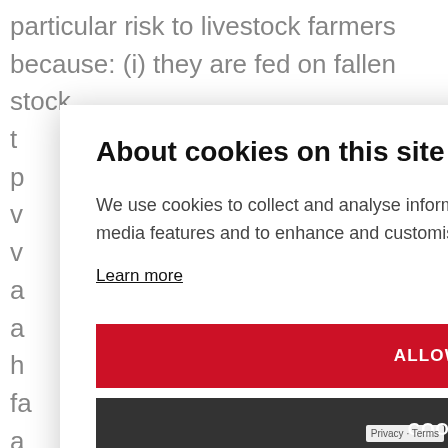particular risk to livestock farmers because: (i) they are fed on fallen stock th p v v a a h fa a d w
minkhounds, which routinely hunt in
About cookies on this site
We use cookies to collect and analyse information on site performance and usage, to provide social media features and to enhance and customise content and advertisements.
Learn more
ALLOW ALL COOKIES
COOKIE SETTINGS
Privacy · Terms